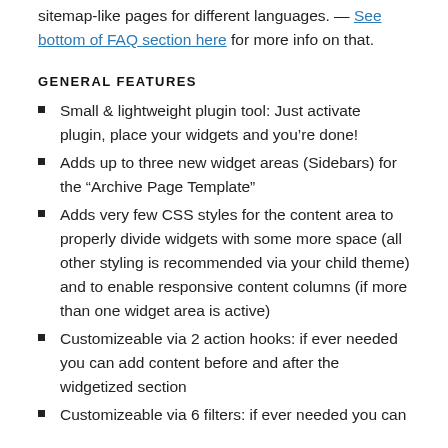sitemap-like pages for different languages. — See bottom of FAQ section here for more info on that.
GENERAL FEATURES
Small & lightweight plugin tool: Just activate plugin, place your widgets and you're done!
Adds up to three new widget areas (Sidebars) for the “Archive Page Template”
Adds very few CSS styles for the content area to properly divide widgets with some more space (all other styling is recommended via your child theme) and to enable responsive content columns (if more than one widget area is active)
Customizeable via 2 action hooks: if ever needed you can add content before and after the widgetized section
Customizeable via 6 filters: if ever needed you can